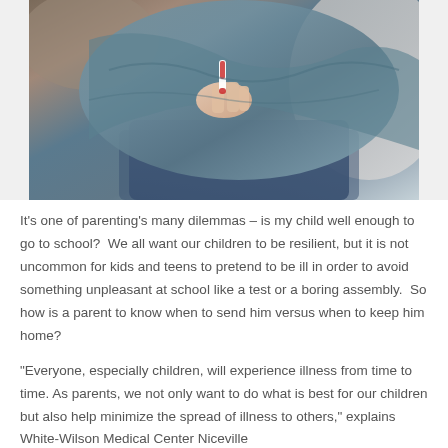[Figure (photo): Close-up photo of a person lying down with a blue blanket, holding what appears to be a thermometer or medication, wearing jeans]
It's one of parenting's many dilemmas – is my child well enough to go to school?  We all want our children to be resilient, but it is not uncommon for kids and teens to pretend to be ill in order to avoid something unpleasant at school like a test or a boring assembly.  So how is a parent to know when to send him versus when to keep him home?
“Everyone, especially children, will experience illness from time to time. As parents, we not only want to do what is best for our children but also help minimize the spread of illness to others,” explains White-Wilson Medical Center Niceville